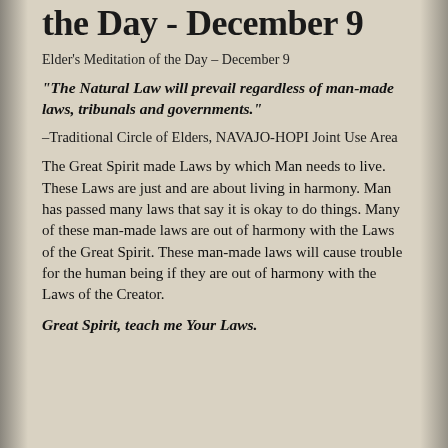the Day - December 9
Elder's Meditation of the Day – December 9
“The Natural Law will prevail regardless of man-made laws, tribunals and governments.”
–Traditional Circle of Elders, NAVAJO-HOPI Joint Use Area
The Great Spirit made Laws by which Man needs to live. These Laws are just and are about living in harmony. Man has passed many laws that say it is okay to do things. Many of these man-made laws are out of harmony with the Laws of the Great Spirit. These man-made laws will cause trouble for the human being if they are out of harmony with the Laws of the Creator.
Great Spirit, teach me Your Laws.